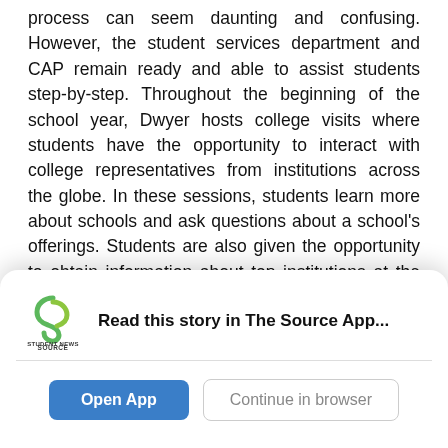process can seem daunting and confusing. However, the student services department and CAP remain ready and able to assist students step-by-step. Throughout the beginning of the school year, Dwyer hosts college visits where students have the opportunity to interact with college representatives from institutions across the globe. In these sessions, students learn more about schools and ask questions about a school's offerings. Students are also given the opportunity to obtain information about top institutions at the college fair, which Dwyer organizes with the support of Palmetto's PTSA.
Beyond that, Dwyer also offers the opportunity to...
[Figure (screenshot): App promotion modal overlay with Student News Source logo, 'Read this story in The Source App...' heading, a horizontal divider, and two buttons: 'Open App' (blue) and 'Continue in browser' (outlined)]